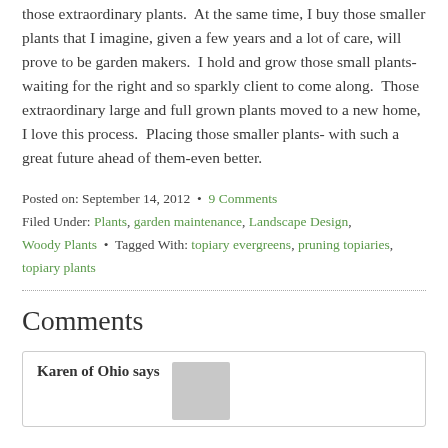those extraordinary plants.  At the same time, I buy those smaller plants that I imagine, given a few years and a lot of care, will prove to be garden makers.  I hold and grow those small plants-waiting for the right and so sparkly client to come along.  Those extraordinary large and full grown plants moved to a new home, I love this process.  Placing those smaller plants- with such a great future ahead of them-even better.
Posted on: September 14, 2012  •  9 Comments
Filed Under: Plants, garden maintenance, Landscape Design, Woody Plants  •  Tagged With: topiary evergreens, pruning topiaries, topiary plants
Comments
Karen of Ohio says